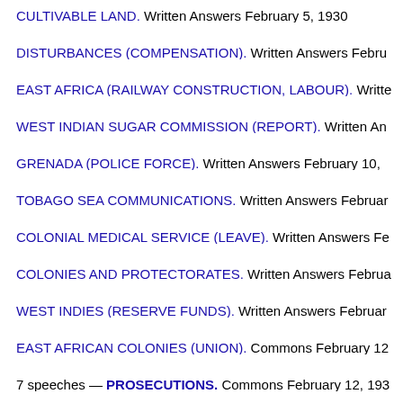CULTIVABLE LAND. Written Answers February 5, 1930
DISTURBANCES (COMPENSATION). Written Answers Febru…
EAST AFRICA (RAILWAY CONSTRUCTION, LABOUR). Writte…
WEST INDIAN SUGAR COMMISSION (REPORT). Written An…
GRENADA (POLICE FORCE). Written Answers February 10, …
TOBAGO SEA COMMUNICATIONS. Written Answers Februar…
COLONIAL MEDICAL SERVICE (LEAVE). Written Answers Fe…
COLONIES AND PROTECTORATES. Written Answers Februa…
WEST INDIES (RESERVE FUNDS). Written Answers Februar…
EAST AFRICAN COLONIES (UNION). Commons February 12…
7 speeches — PROSECUTIONS. Commons February 12, 193…
POLICE FORCE. Commons February 12, 1930